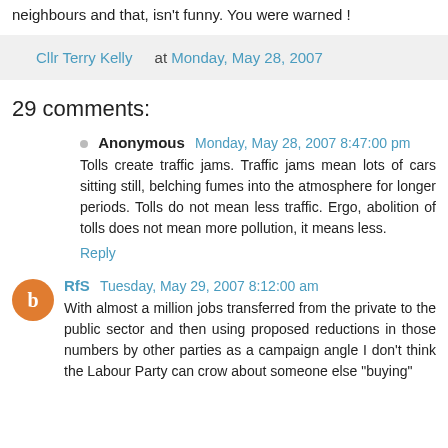neighbours and that, isn't funny. You were warned !
Cllr Terry Kelly at Monday, May 28, 2007
29 comments:
Anonymous Monday, May 28, 2007 8:47:00 pm
Tolls create traffic jams. Traffic jams mean lots of cars sitting still, belching fumes into the atmosphere for longer periods. Tolls do not mean less traffic. Ergo, abolition of tolls does not mean more pollution, it means less.
Reply
RfS Tuesday, May 29, 2007 8:12:00 am
With almost a million jobs transferred from the private to the public sector and then using proposed reductions in those numbers by other parties as a campaign angle I don't think the Labour Party can crow about someone else "buying"